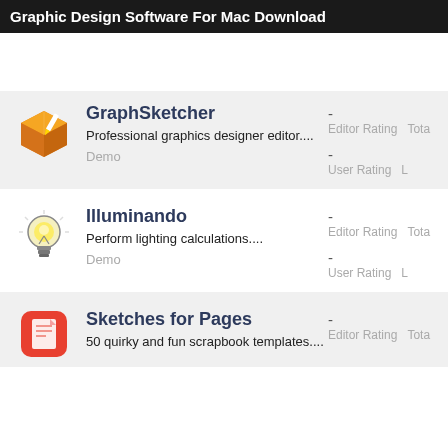Graphic Design Software For Mac Download
GraphSketcher
Professional graphics designer editor....
Demo
Illuminando
Perform lighting calculations....
Demo
Sketches for Pages
50 quirky and fun scrapbook templates....
Editor Rating
User Rating
Tota
L